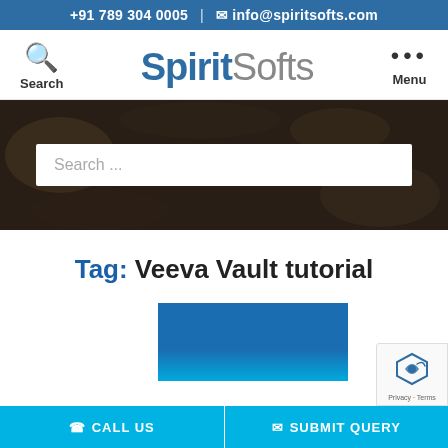+91 789 304 0005  |  ✉ info@spiritsofts.com
SpiritSofts
Search    Menu
[Figure (screenshot): Dark hero image with a white search input box containing placeholder text 'Search ...']
Tag: Veeva Vault tutorial
[Figure (other): Blue gradient card/banner element]
☎ CALL US    ✉ SUBMIT QUERY